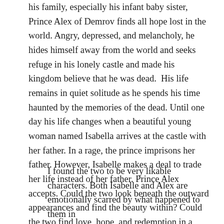his family, especially his infant baby sister, Prince Alex of Demrov finds all hope lost in the world. Angry, depressed, and melancholy, he hides himself away from the world and seeks refuge in his lonely castle and made his kingdom believe that he was dead.  His life remains in quiet solitude as he spends his time haunted by the memories of the dead. Until one day his life changes when a beautiful young woman named Isabella arrives at the castle with her father. In a rage, the prince imprisons her father. However, Isabelle makes a deal to trade her life instead of her father. Prince Alex accepts. Could the two look beneath the outward appearances and find the beauty within? Could the two find love, hope, and redemption in a cruel and unforgiving world?
I found the two to be very likable characters. Both Isabelle and Alex are emotionally scarred by what happened to them in